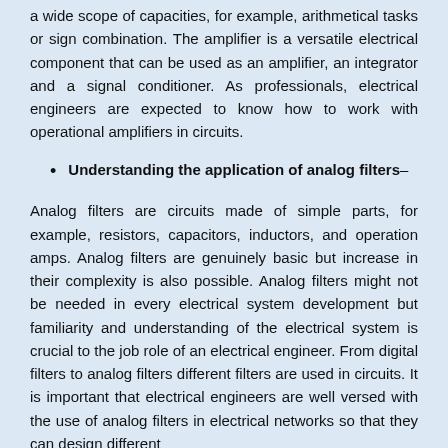a wide scope of capacities, for example, arithmetical tasks or sign combination. The amplifier is a versatile electrical component that can be used as an amplifier, an integrator and a signal conditioner. As professionals, electrical engineers are expected to know how to work with operational amplifiers in circuits.
Understanding the application of analog filters–
Analog filters are circuits made of simple parts, for example, resistors, capacitors, inductors, and operation amps. Analog filters are genuinely basic but increase in their complexity is also possible. Analog filters might not be needed in every electrical system development but familiarity and understanding of the electrical system is crucial to the job role of an electrical engineer. From digital filters to analog filters different filters are used in circuits. It is important that electrical engineers are well versed with the use of analog filters in electrical networks so that they can design different